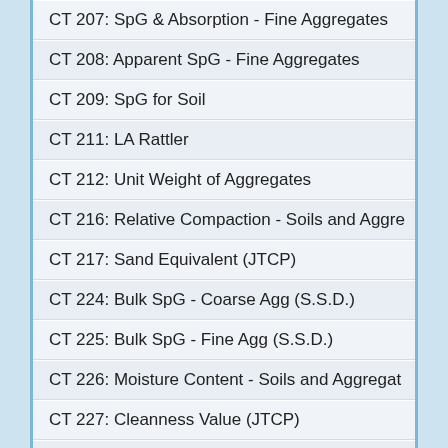CT 207: SpG & Absorption - Fine Aggregates
CT 208: Apparent SpG - Fine Aggregates
CT 209: SpG for Soil
CT 211: LA Rattler
CT 212: Unit Weight of Aggregates
CT 216: Relative Compaction - Soils and Aggre
CT 217: Sand Equivalent (JTCP)
CT 224: Bulk SpG - Coarse Agg (S.S.D.)
CT 225: Bulk SpG - Fine Agg (S.S.D.)
CT 226: Moisture Content - Soils and Aggregat
CT 227: Cleanness Value (JTCP)
CT 229: Durability (JTCP)